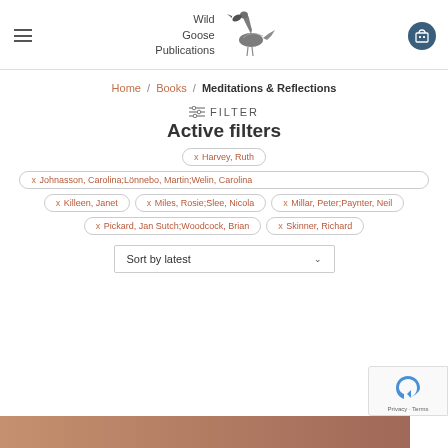Wild Goose Publications
Home / Books / Meditations & Reflections
FILTER
Active filters
x Harvey, Ruth
x Johnasson, Carolina;Lönnebo, Martin;Welin, Carolina
x Killeen, Janet
x Miles, Rosie;Slee, Nicola
x Millar, Peter;Paynter, Neil
x Pickard, Jan Sutch;Woodcock, Brian
x Skinner, Richard
Sort by latest